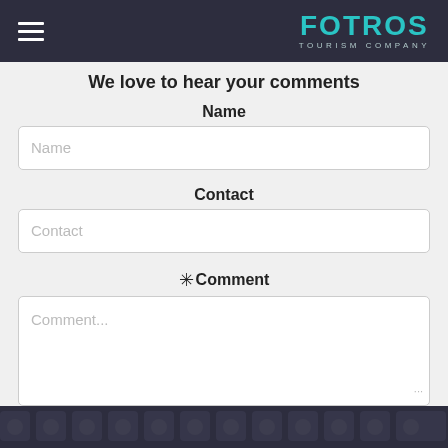FOTROS TOURISM COMPANY
We love to hear your comments
Name
Name [input field]
Contact
Contact [input field]
✳Comment
Comment... [textarea]
[Figure (other): reCAPTCHA widget with checkbox labeled 'I'm not a robot']
Submit